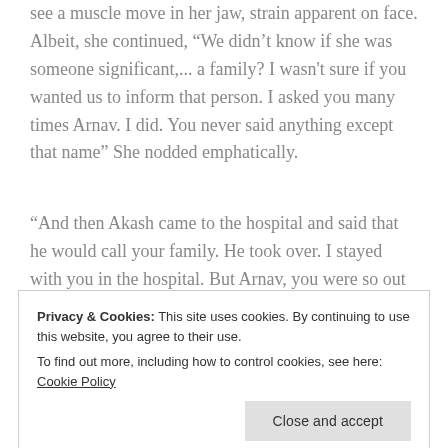see a muscle move in her jaw, strain apparent on face. Albeit, she continued, “We didn’t know if she was someone significant,... a family? I wasn't sure if you wanted us to inform that person. I asked you many times Arnav. I did. You never said anything except that name” She nodded emphatically.
“And then Akash came to the hospital and said that he would call your family. He took over. I stayed with you in the hospital. But Arnav, you were so out
looked away from him, hiding being weaker on
Privacy & Cookies: This site uses cookies. By continuing to use this website, you agree to their use.
To find out more, including how to control cookies, see here: Cookie Policy